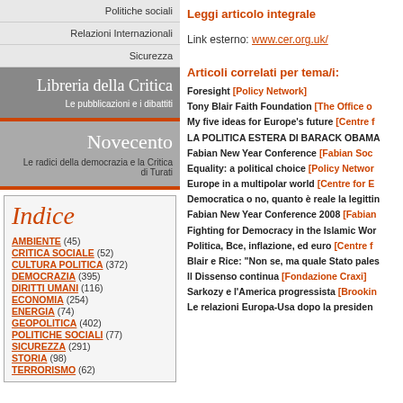Politiche sociali
Relazioni Internazionali
Sicurezza
Libreria della Critica
Le pubblicazioni e i dibattiti
Novecento
Le radici della democrazia e la Critica di Turati
Indice
AMBIENTE (45)
CRITICA SOCIALE (52)
CULTURA POLITICA (372)
DEMOCRAZIA (395)
DIRITTI UMANI (116)
ECONOMIA (254)
ENERGIA (74)
GEOPOLITICA (402)
POLITICHE SOCIALI (77)
SICUREZZA (291)
STORIA (98)
TERRORISMO (62)
Leggi articolo integrale
Link esterno: www.cer.org.uk/
Articoli correlati per tema/i:
Foresight [Policy Network]
Tony Blair Faith Foundation [The Office o...
My five ideas for Europe's future [Centre f...
LA POLITICA ESTERA DI BARACK OBAMA...
Fabian New Year Conference [Fabian Soc...
Equality: a political choice [Policy Networ...
Europe in a multipolar world [Centre for E...
Democratica o no, quanto è reale la legittin...
Fabian New Year Conference 2008 [Fabian...
Fighting for Democracy in the Islamic Wor...
Politica, Bce, inflazione, ed euro [Centre f...
Blair e Rice: "Non se, ma quale Stato pales...
Il Dissenso continua [Fondazione Craxi]
Sarkozy e l'America progressista [Brookin...
Le relazioni Europa-Usa dopo la presiden...